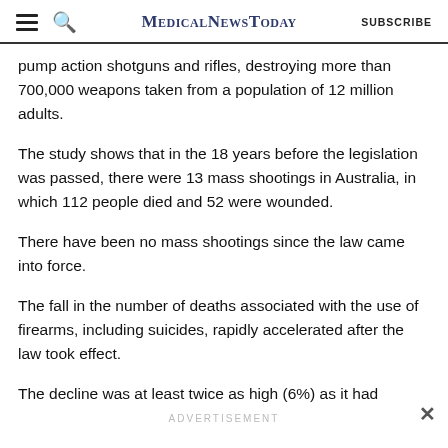MedicalNewsToday SUBSCRIBE
pump action shotguns and rifles, destroying more than 700,000 weapons taken from a population of 12 million adults.
The study shows that in the 18 years before the legislation was passed, there were 13 mass shootings in Australia, in which 112 people died and 52 were wounded.
There have been no mass shootings since the law came into force.
The fall in the number of deaths associated with the use of firearms, including suicides, rapidly accelerated after the law took effect.
The decline was at least twice as high (6%) as it had
ADVERTISEMENT